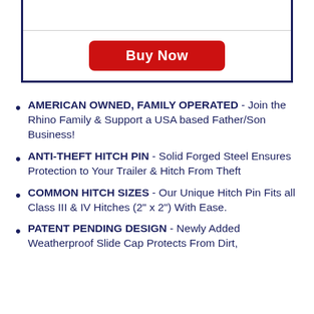[Figure (other): Buy Now button inside a navy blue bordered box with a horizontal divider line above the button]
AMERICAN OWNED, FAMILY OPERATED - Join the Rhino Family & Support a USA based Father/Son Business!
ANTI-THEFT HITCH PIN - Solid Forged Steel Ensures Protection to Your Trailer & Hitch From Theft
COMMON HITCH SIZES - Our Unique Hitch Pin Fits all Class III & IV Hitches (2" x 2") With Ease.
PATENT PENDING DESIGN - Newly Added Weatherproof Slide Cap Protects From Dirt,